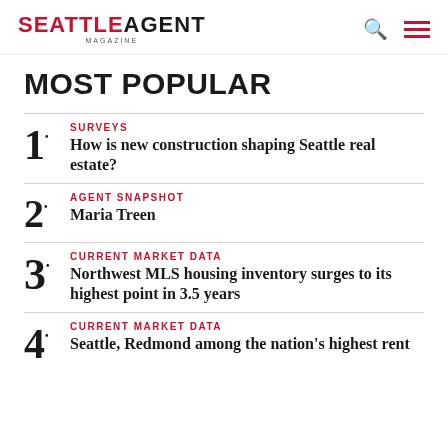Seattle Agent Magazine
MOST POPULAR
SURVEYS — How is new construction shaping Seattle real estate?
AGENT SNAPSHOT — Maria Treen
CURRENT MARKET DATA — Northwest MLS housing inventory surges to its highest point in 3.5 years
CURRENT MARKET DATA — Seattle, Redmond among the nation's highest rent